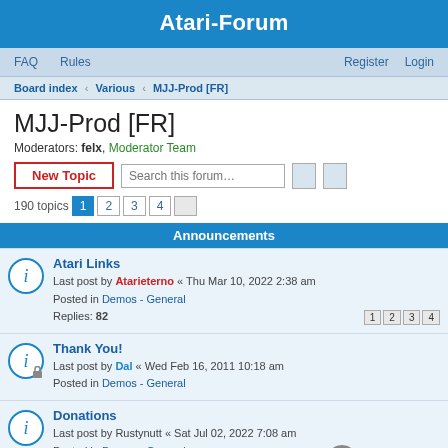Atari-Forum
FAQ  Rules  Register  Login
Board index › Various › MJJ-Prod [FR]
MJJ-Prod [FR]
Moderators: felx, Moderator Team
New Topic  Search this forum…  190 topics  1 2 3 4
Announcements
Atari Links
Last post by Atarieterno « Thu Mar 10, 2022 2:38 am
Posted in Demos - General
Replies: 82
Thank You!
Last post by Dal « Wed Feb 16, 2011 10:18 am
Posted in Demos - General
Donations
Last post by Rustynutt « Sat Jul 02, 2022 7:08 am
Posted in Demos - General
Replies: 96